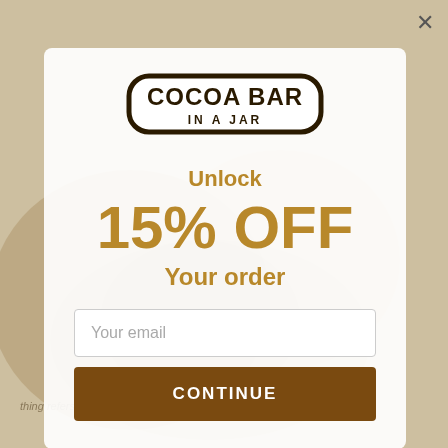[Figure (screenshot): Background image of cocoa/chocolate product, blurred]
[Figure (logo): Cocoa Bar In A Jar logo — rounded rectangular badge with bold serif text COCOA BAR and tagline IN A JAR]
Unlock
15% OFF
Your order
Your email
CONTINUE
thing refers the space begins. Exercise also helps the mind make